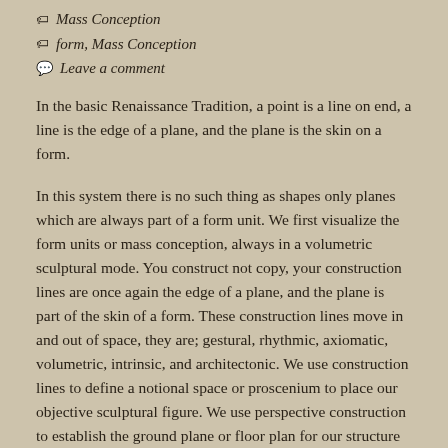Mass Conception
form, Mass Conception
Leave a comment
In the basic Renaissance Tradition, a point is a line on end, a line is the edge of a plane, and the plane is the skin on a form.
In this system there is no such thing as shapes only planes which are always part of a form unit. We first visualize the form units or mass conception, always in a volumetric sculptural mode. You construct not copy, your construction lines are once again the edge of a plane, and the plane is part of the skin of a form. These construction lines move in and out of space, they are; gestural, rhythmic, axiomatic, volumetric, intrinsic, and architectonic. We use construction lines to define a notional space or proscenium to place our objective sculptural figure. We use perspective construction to establish the ground plane or floor plan for our structure